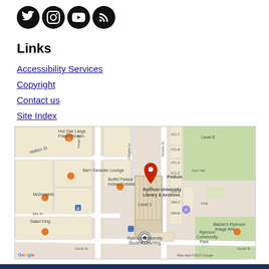[Figure (illustration): Four social media icons (Twitter, Instagram, YouTube, RSS) as white icons on black circular backgrounds]
Links
Accessibility Services
Copyright
Contact us
Site Index
[Figure (map): Google Maps showing Ryerson University Library & Archives at Level 2, surrounded by nearby streets (Gould St, Yonge St, Victoria St), nearby businesses (Hot Star Large Fried Chicken, Bar+ Karaoke Lounge, McDonalds, Buffet Palace Indian Cuisine, Salad King, Balzac's Ryerson Image Arts), Ryerson University Student Learning, and map attribution 'Map data ©2017 Google']